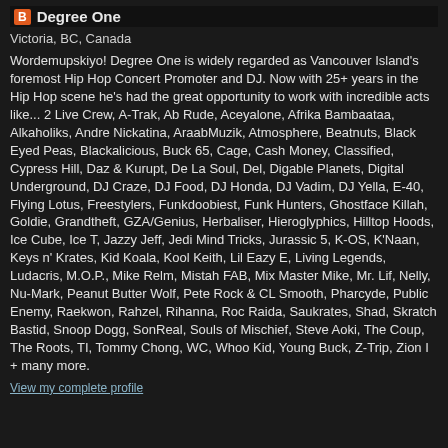Degree One
Victoria, BC, Canada
Wordemupskiyo! Degree One is widely regarded as Vancouver Island's foremost Hip Hop Concert Promoter and DJ. Now with 25+ years in the Hip Hop scene he's had the great opportunity to work with incredible acts like... 2 Live Crew, A-Trak, Ab Rude, Aceyalone, Afrika Bambaataa, Alkaholiks, Andre Nickatina, AraabMuzik, Atmosphere, Beatnuts, Black Eyed Peas, Blackalicious, Buck 65, Cage, Cash Money, Classified, Cypress Hill, Daz & Kurupt, De La Soul, Del, Digable Planets, Digital Underground, DJ Craze, DJ Food, DJ Honda, DJ Vadim, DJ Yella, E-40, Flying Lotus, Freestylers, Funkdoobiest, Funk Hunters, Ghostface Killah, Goldie, Grandtheft, GZA/Genius, Herbaliser, Hieroglyphics, Hilltop Hoods, Ice Cube, Ice T, Jazzy Jeff, Jedi Mind Tricks, Jurassic 5, K-OS, K'Naan, Keys n' Krates, Kid Koala, Kool Keith, Lil Eazy E, Living Legends, Ludacris, M.O.P., Mike Relm, Mistah FAB, Mix Master Mike, Mr. Lif, Nelly, Nu-Mark, Peanut Butter Wolf, Pete Rock & CL Smooth, Pharcyde, Public Enemy, Raekwon, Rahzel, Rihanna, Roc Raida, Saukrates, Shad, Skratch Bastid, Snoop Dogg, SonReal, Souls of Mischief, Steve Aoki, The Coup, The Roots, TI, Tommy Chong, WC, Whoo Kid, Young Buck, Z-Trip, Zion I + many more.
View my complete profile